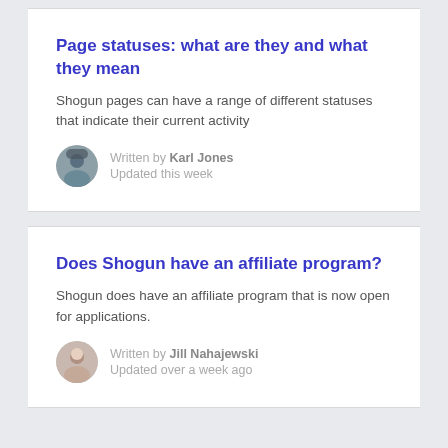Page statuses: what are they and what they mean
Shogun pages can have a range of different statuses that indicate their current activity
Written by Karl Jones
Updated this week
Does Shogun have an affiliate program?
Shogun does have an affiliate program that is now open for applications.
Written by Jill Nahajewski
Updated over a week ago